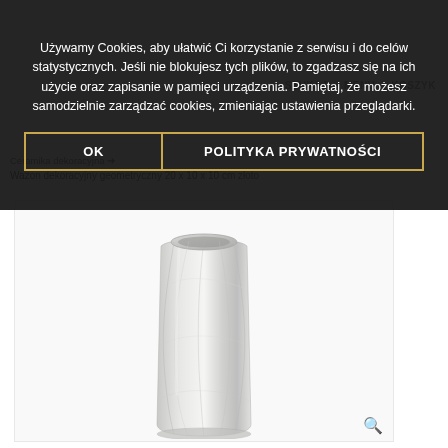Używamy Cookies, aby ułatwić Ci korzystanie z serwisu i do celów statystycznych. Jeśli nie blokujesz tych plików, to zgadzasz się na ich użycie oraz zapisanie w pamięci urządzenia. Pamiętaj, że możesz samodzielnie zarządzać cookies, zmieniając ustawienia przeglądarki.
OK
POLITYKA PRYWATNOŚCI
Ceramika dekoracyjna
Wazon dekoracyjny geometryczny 20 x 10 x 10 cm złoto
[Figure (photo): A tall geometric decorative vase with a twisted/faceted surface in a metallic silver/white color, photographed on a white background.]